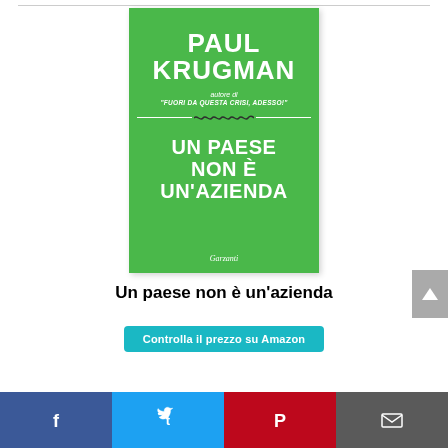[Figure (photo): Book cover of 'Un paese non è un'azienda' by Paul Krugman, published by Garzanti. Green background with white text. Author name at top, subtitle 'autore di "Fuori da questa crisi, adesso!"', decorative wave divider, book title in large white letters, publisher name at bottom.]
Un paese non è un'azienda
Controlla il prezzo su Amazon
[Figure (infographic): Social media sharing bar at bottom: Facebook (blue), Twitter (blue), Pinterest (red), Email (grey) buttons with icons]